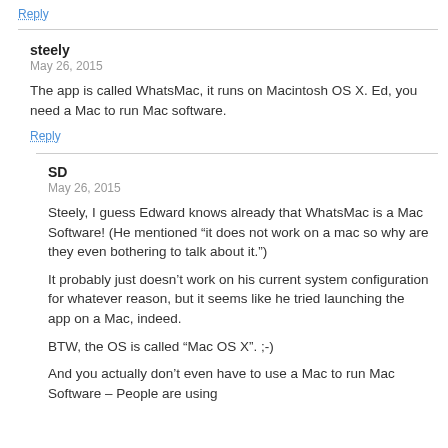Reply
steely
May 26, 2015
The app is called WhatsMac, it runs on Macintosh OS X. Ed, you need a Mac to run Mac software.
Reply
SD
May 26, 2015
Steely, I guess Edward knows already that WhatsMac is a Mac Software! (He mentioned “it does not work on a mac so why are they even bothering to talk about it.”)
It probably just doesn’t work on his current system configuration for whatever reason, but it seems like he tried launching the app on a Mac, indeed.
BTW, the OS is called “Mac OS X”. ;-)
And you actually don’t even have to use a Mac to run Mac Software – People are using